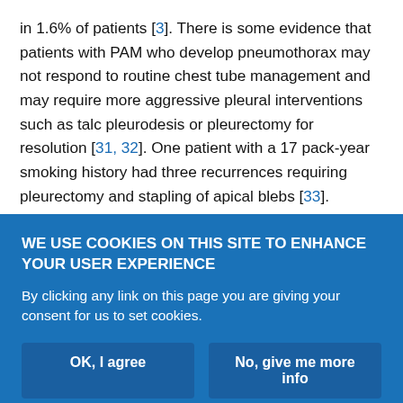in 1.6% of patients [3]. There is some evidence that patients with PAM who develop pneumothorax may not respond to routine chest tube management and may require more aggressive pleural interventions such as talc pleurodesis or pleurectomy for resolution [31, 32]. One patient with a 17 pack-year smoking history had three recurrences requiring pleurectomy and stapling of apical blebs [33]. Another PAM patient underwent single lung transplantation of the hemithorax affected by recurrent pneumothorax and had residual pneumothorax at the time of transplantation [34]. Pulmonary hypertension and pulmonary fibrosis may develop over
WE USE COOKIES ON THIS SITE TO ENHANCE YOUR USER EXPERIENCE
By clicking any link on this page you are giving your consent for us to set cookies.